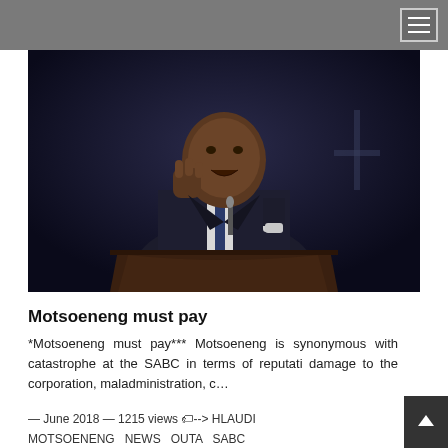[Figure (photo): A man in a dark suit speaking at a podium/lectern, raising his fist. The background is dark with a faint cross shape visible. The lectern appears to be made of dark wood.]
Motsoeneng must pay
*Motsoeneng must pay*** Motsoeneng is synonymous with catastrophe at the SABC in terms of reputati damage to the corporation, maladministration, c...
— June 2018 — 1215 views -->  HLAUDI MOTSOENENG  NEWS  OUTA  SABC